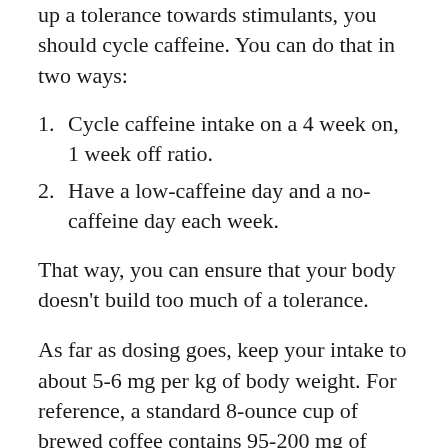up a tolerance towards stimulants, you should cycle caffeine. You can do that in two ways:
Cycle caffeine intake on a 4 week on, 1 week off ratio.
Have a low-caffeine day and a no-caffeine day each week.
That way, you can ensure that your body doesn't build too much of a tolerance.
As far as dosing goes, keep your intake to about 5-6 mg per kg of body weight. For reference, a standard 8-ounce cup of brewed coffee contains 95-200 mg of caffeine.